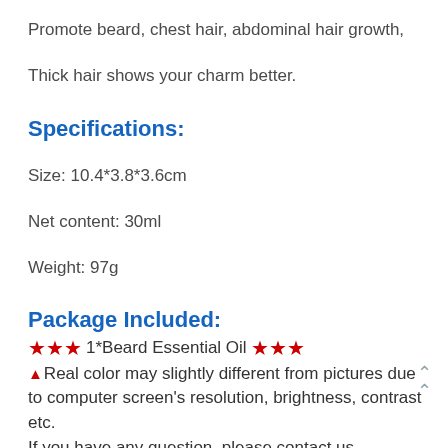Promote beard, chest hair, abdominal hair growth,
Thick hair shows your charm better.
Specifications:
Size: 10.4*3.8*3.6cm
Net content: 30ml
Weight: 97g
Package Included:
★★★ 1*Beard Essential Oil ★★★
▲Real color may slightly different from pictures due to computer screen's resolution, brightness, contrast etc.
If you have any question, please contact us.